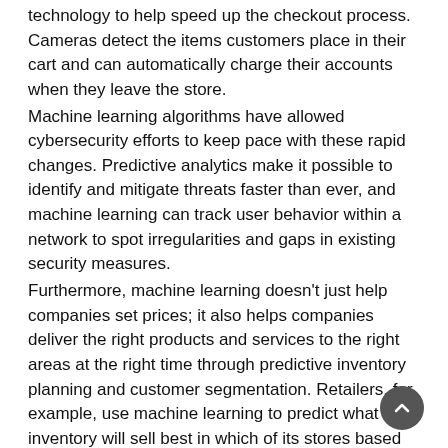technology to help speed up the checkout process. Cameras detect the items customers place in their cart and can automatically charge their accounts when they leave the store.
Machine learning algorithms have allowed cybersecurity efforts to keep pace with these rapid changes. Predictive analytics make it possible to identify and mitigate threats faster than ever, and machine learning can track user behavior within a network to spot irregularities and gaps in existing security measures.
Furthermore, machine learning doesn't just help companies set prices; it also helps companies deliver the right products and services to the right areas at the right time through predictive inventory planning and customer segmentation. Retailers, for example, use machine learning to predict what inventory will sell best in which of its stores based on the seasonal factors impacting a particular store, the demographics of that region and other data points — such as what's trending on social media, said Adnan Masood who as chief architect at UST Global specializes in AI and machine learning.